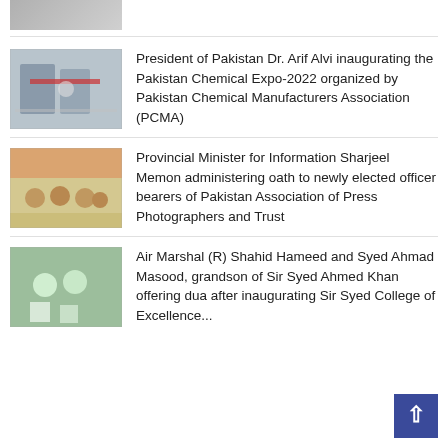[Figure (photo): Partial photo at top, cropped]
[Figure (photo): President of Pakistan Dr. Arif Alvi inaugurating the Pakistan Chemical Expo-2022, people cutting ribbon wearing masks]
President of Pakistan Dr. Arif Alvi inaugurating the Pakistan Chemical Expo-2022 organized by Pakistan Chemical Manufacturers Association (PCMA)
[Figure (photo): Provincial Minister for Information Sharjeel Memon administering oath to newly elected officer bearers of Pakistan Association of Press Photographers and Trust]
Provincial Minister for Information Sharjeel Memon administering oath to newly elected officer bearers of Pakistan Association of Press Photographers and Trust
[Figure (photo): Air Marshal (R) Shahid Hameed and Syed Ahmad Masood at Sir Syed College of Excellence inauguration]
Air Marshal (R) Shahid Hameed and Syed Ahmad Masood, grandson of Sir Syed Ahmed Khan offering dua after inaugurating Sir Syed College of Excellence...